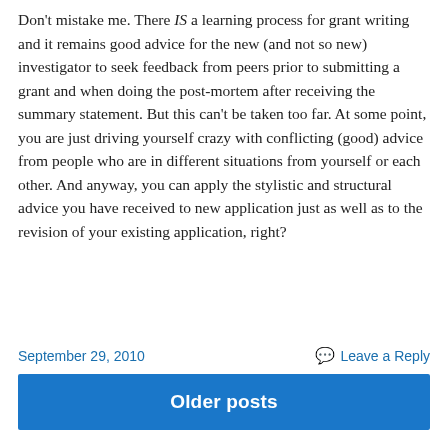Don't mistake me. There IS a learning process for grant writing and it remains good advice for the new (and not so new) investigator to seek feedback from peers prior to submitting a grant and when doing the post-mortem after receiving the summary statement. But this can't be taken too far. At some point, you are just driving yourself crazy with conflicting (good) advice from people who are in different situations from yourself or each other. And anyway, you can apply the stylistic and structural advice you have received to new application just as well as to the revision of your existing application, right?
September 29, 2010
Leave a Reply
Older posts